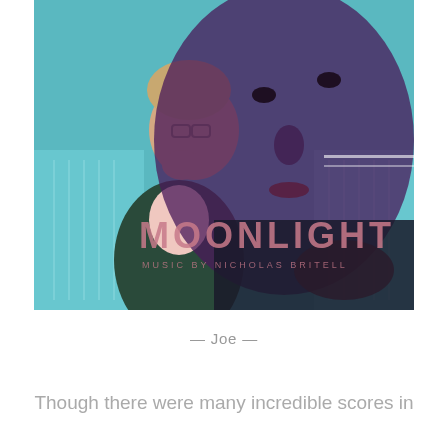[Figure (photo): Album cover for Moonlight soundtrack. A composite image shows a man in a suit resting his chin on his hand in front of a piano (likely composer Nicholas Britell), overlaid with a large close-up of a dark-skinned man's face. Text on the image reads 'MOONLIGHT' in large letters and 'MUSIC BY NICHOLAS BRITELL' below it.]
— Joe —
Though there were many incredible scores in